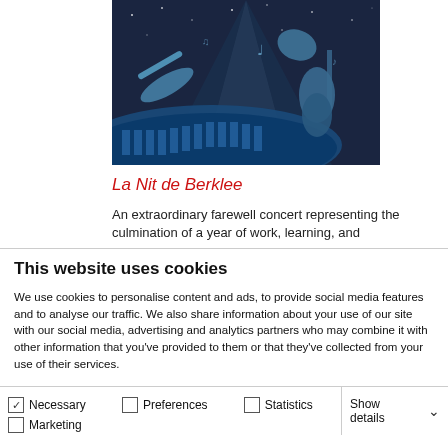[Figure (illustration): Concert illustration with musical instruments (trumpet, guitar, french horn) against a dark blue starry night background with light rays, showing what appears to be a piano/keyboard in the foreground]
La Nit de Berklee
An extraordinary farewell concert representing the culmination of a year of work, learning, and
This website uses cookies
We use cookies to personalise content and ads, to provide social media features and to analyse our traffic. We also share information about your use of our site with our social media, advertising and analytics partners who may combine it with other information that you've provided to them or that they've collected from your use of their services.
Allow selection | Allow all cookies
Necessary  Preferences  Statistics  Marketing  Show details